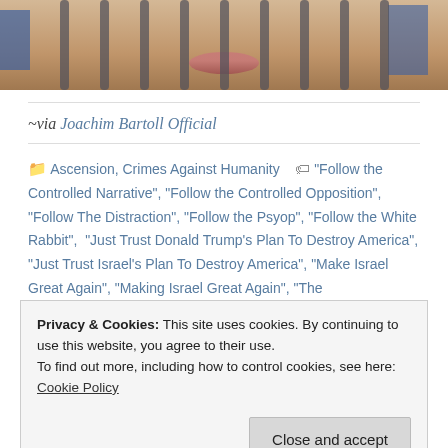[Figure (photo): A cropped photo of a person's lower face viewed through vertical bars, suggesting prison bars. Background shows blue elements.]
~via Joachim Bartoll Official
Ascension, Crimes Against Humanity  "Follow the Controlled Narrative", "Follow the Controlled Opposition", "Follow The Distraction", "Follow the Psyop", "Follow the White Rabbit",  "Just Trust Donald Trump's Plan To Destroy America", "Just Trust Israel's Plan To Destroy America", "Make Israel Great Again", "Making Israel Great Again", "The
Privacy & Cookies: This site uses cookies. By continuing to use this website, you agree to their use.
To find out more, including how to control cookies, see here: Cookie Policy
Close and accept
Psyop", "Trust The Distraction", "Trust The Plan" PsyOp,